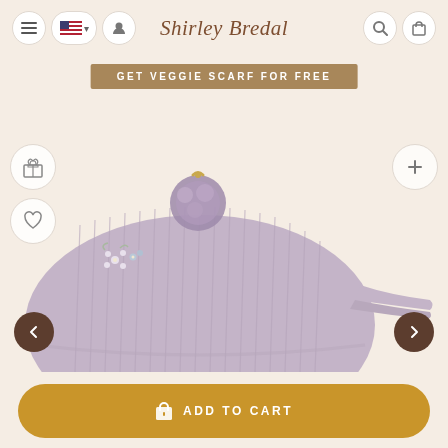Shirley Bredal
GET VEGGIE SCARF FOR FREE
[Figure (photo): Close-up photo of a lavender/mauve chunky knit baby bonnet with floral embroidery and a pom-pom, displayed on a light beige background]
ADD TO CART